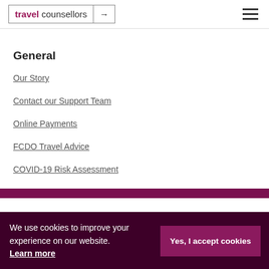travel counsellors
General
Our Story
Contact our Support Team
Online Payments
FCDO Travel Advice
COVID-19 Risk Assessment
Head Office Careers
We use cookies to improve your experience on our website. Learn more
Yes, I accept cookies